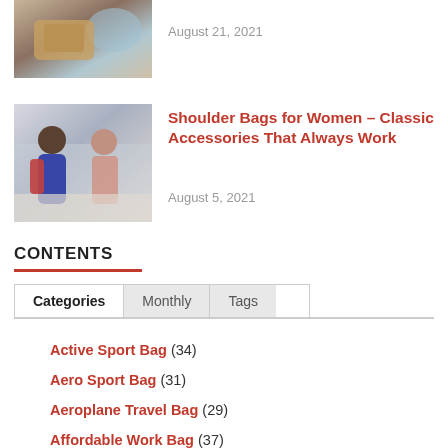[Figure (photo): Partial view of a bag/accessories photo, partially cropped at top]
August 21, 2021
[Figure (photo): Two women at what appears to be a service counter or desk]
Shoulder Bags for Women – Classic Accessories That Always Work
August 5, 2021
CONTENTS
Categories | Monthly | Tags
Active Sport Bag (34)
Aero Sport Bag (31)
Aeroplane Travel Bag (29)
Affordable Work Bag (37)